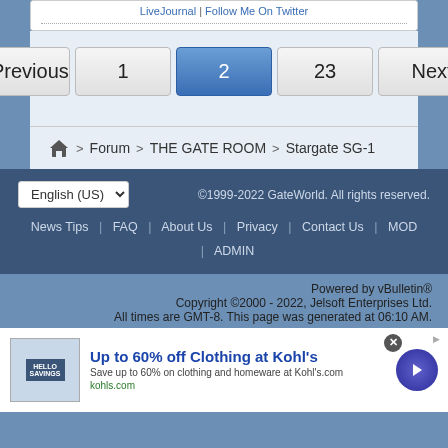LiveJournal | Follow Me On Twitter
Previous 1 2 23 Next
Forum > THE GATE ROOM > Stargate SG-1
©1999-2022 GateWorld. All rights reserved.
News Tips | FAQ | About Us | Privacy | Contact Us | MOD | ADMIN
Powered by vBulletin® Copyright ©2000 - 2022, Jelsoft Enterprises Ltd. All times are GMT-8. This page was generated at 06:10 AM.
[Figure (other): Advertisement banner: Up to 60% off Clothing at Kohl's]